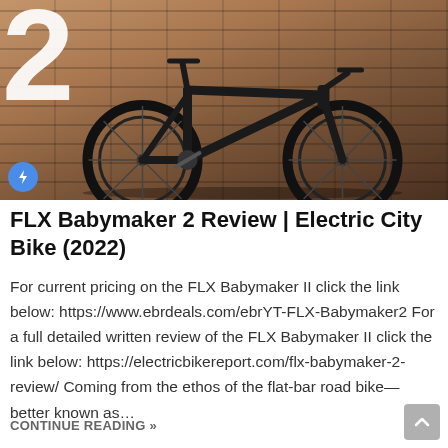[Figure (photo): Black FLX Babymaker 2 electric city bike parked against a brick wall. A large white number '2' is visible on the left side of the brick wall. A blue circular lightning bolt icon appears in the bottom-left corner of the image.]
FLX Babymaker 2 Review | Electric City Bike (2022)
For current pricing on the FLX Babymaker II click the link below: https://www.ebrdeals.com/ebrYT-FLX-Babymaker2 For a full detailed written review of the FLX Babymaker II click the link below: https://electricbikereport.com/flx-babymaker-2-review/ Coming from the ethos of the flat-bar road bike—better known as…
CONTINUE READING »